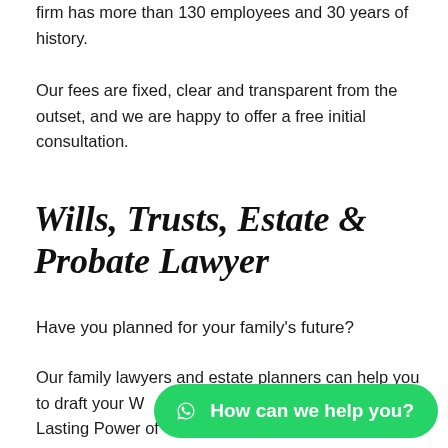firm has more than 130 employees and 30 years of history.
Our fees are fixed, clear and transparent from the outset, and we are happy to offer a free initial consultation.
Wills, Trusts, Estate & Probate Lawyer
Have you planned for your family's future?
Our family lawyers and estate planners can help you to draft your W[ill, protect] your assets, and draft your Lasting Power of [Attorney]